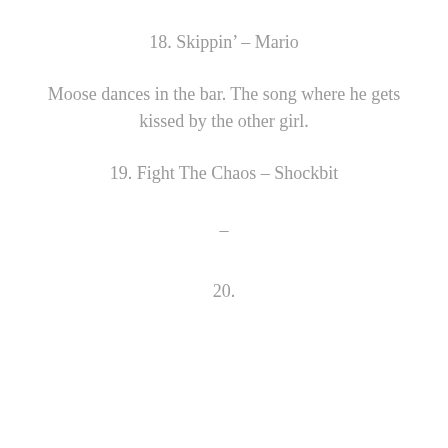18.  Skippin’ – Mario
Moose dances in the bar. The song where he gets kissed by the other girl.
19. Fight The Chaos – Shockbit
–
20.